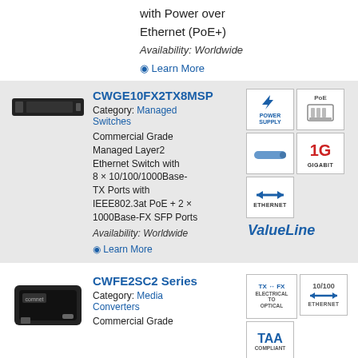with Power over Ethernet (PoE+)
Availability: Worldwide
Learn More
CWGE10FX2TX8MSP
Category: Managed Switches
Commercial Grade Managed Layer2 Ethernet Switch with 8 × 10/100/1000Base-TX Ports with IEEE802.3at PoE + 2 × 1000Base-FX SFP Ports
Availability: Worldwide
Learn More
[Figure (infographic): Icons: Power Supply, PoE, SFP module, Gigabit, Ethernet arrows; ValueLine brand label]
CWFE2SC2 Series
Category: Media Converters
[Figure (infographic): Icons: TX-FX Electrical to Optical, 10/100 Ethernet, TAA Compliant]